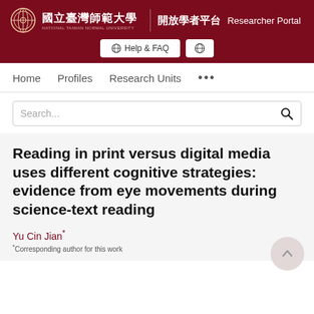國立臺灣師範大學 NATIONAL TAIWAN NORMAL UNIVERSITY 開放學者平台 Researcher Portal
Help & FAQ
Home   Profiles   Research Units   ...
Search...
Reading in print versus digital media uses different cognitive strategies: evidence from eye movements during science-text reading
Yu Cin Jian*
*Corresponding author for this work